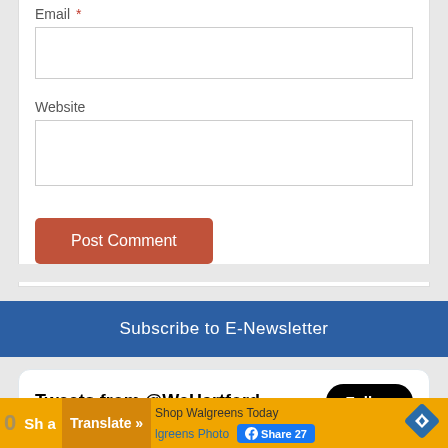Email *
Website
Post Comment
Subscribe to E-Newsletter
Tweets from @WeHartford
Follow
We-Ha.Com @WeHartford · 9h
Three years and three days ago was the last
Shop Walgreens Today
Translate »
lgreens Photo
Share 27